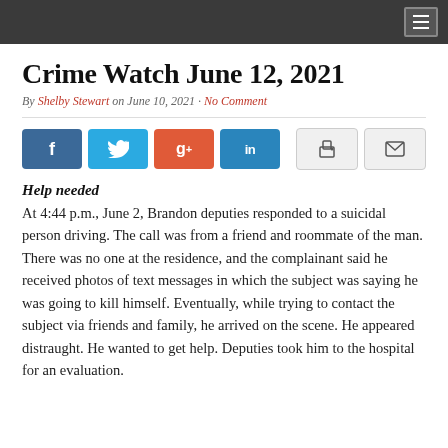≡
Crime Watch June 12, 2021
By Shelby Stewart on June 10, 2021 · No Comment
[Figure (other): Social media share buttons: Facebook, Twitter, Google+, LinkedIn, Print, Email]
Help needed
At 4:44 p.m., June 2, Brandon deputies responded to a suicidal person driving. The call was from a friend and roommate of the man. There was no one at the residence, and the complainant said he received photos of text messages in which the subject was saying he was going to kill himself. Eventually, while trying to contact the subject via friends and family, he arrived on the scene. He appeared distraught. He wanted to get help. Deputies took him to the hospital for an evaluation.